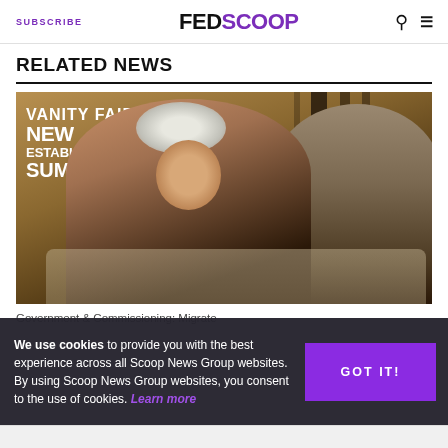SUBSCRIBE  FEDSCOOP
RELATED NEWS
[Figure (photo): Two people seated on stage at the Vanity Fair New Establishment Summit; a woman with short silver hair in a dark blazer gestures while talking to a man on her right]
We use cookies to provide you with the best experience across all Scoop News Group websites. By using Scoop News Group websites, you consent to the use of cookies. Learn more
GOT IT!